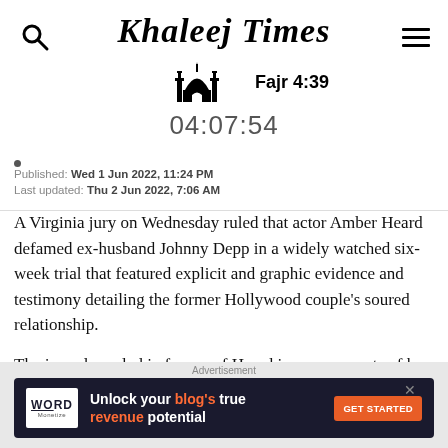Khaleej Times | Fajr 4:39 | 04:07:54
Published: Wed 1 Jun 2022, 11:24 PM
Last updated: Thu 2 Jun 2022, 7:06 AM
A Virginia jury on Wednesday ruled that actor Amber Heard defamed ex-husband Johnny Depp in a widely watched six-week trial that featured explicit and graphic evidence and testimony detailing the former Hollywood couple's soured relationship.
The jury also ruled in favour of Heard in some aspects of her
[Figure (infographic): Advertisement banner: Word Monetize - Unlock your blog's true revenue potential - GET STARTED button]